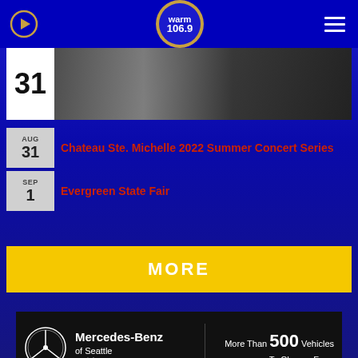warm 106.9
[Figure (photo): Event image with date 31 shown on the left side]
AUG 31 — Chateau Ste. Michelle 2022 Summer Concert Series
SEP 1 — Evergreen State Fair
MORE
[Figure (other): Mercedes-Benz of Seattle advertisement: More Than 500 Vehicles To Choose From. A Siebert Auto Group Company.]